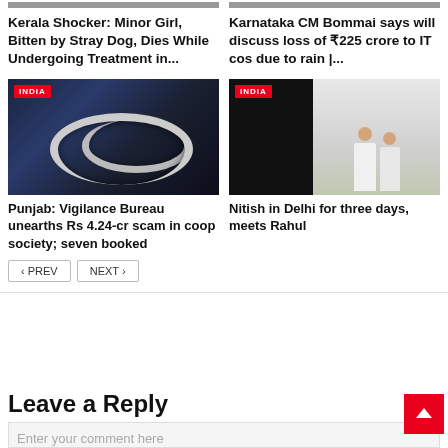[Figure (photo): Partial image strips at top of two article thumbnails]
Kerala Shocker: Minor Girl, Bitten by Stray Dog, Dies While Undergoing Treatment in...
Karnataka CM Bommai says will discuss loss of ₹225 crore to IT cos due to rain |...
[Figure (photo): Handcuffs on dark blue background with INDIA tag]
[Figure (photo): Two politicians in white kurta standing together with INDIA tag; Nitish Kumar meets Rahul Gandhi]
Punjab: Vigilance Bureau unearths Rs 4.24-cr scam in coop society; seven booked
Nitish in Delhi for three days, meets Rahul
‹ PREV
NEXT ›
Leave a Reply
Enter your comment here